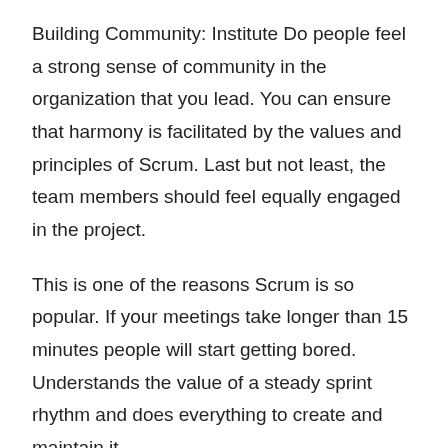Building Community: Institute Do people feel a strong sense of community in the organization that you lead. You can ensure that harmony is facilitated by the values and principles of Scrum. Last but not least, the team members should feel equally engaged in the project.
This is one of the reasons Scrum is so popular. If your meetings take longer than 15 minutes people will start getting bored. Understands the value of a steady sprint rhythm and does everything to create and maintain it.
Or too primitive (just a rudimentary Scrum / task board on the wall, and not much else). Many